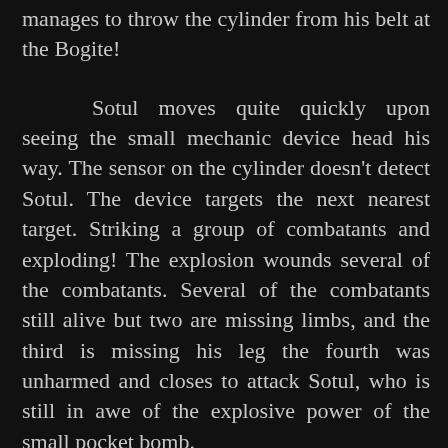…Bogite manages to throw the cylinder from his belt at the Bogite!
Sotul moves quite quickly upon seeing the small mechanic device head his way. The sensor on the cylinder doesn't detect Sotul. The device targets the next nearest target. Striking a group of combatants and exploding! The explosion wounds several of the combatants. Several of the combatants still alive but two are missing limbs, and the third is missing his leg the fourth was unharmed and closes to attack Sotul, who is still in awe of the explosive power of the small pocket bomb.
Sotul's adversary runs up and tries to impale the Bogite with a pickaxe, but the mercenary misses. Sotul in retaliation swing's his sword at the mercenary